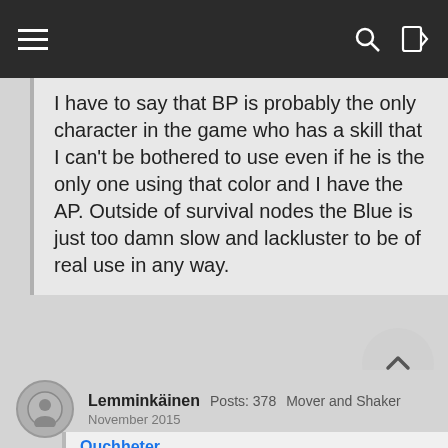Navigation bar with hamburger menu, search and login icons
I have to say that BP is probably the only character in the game who has a skill that I can't be bothered to use even if he is the only one using that color and I have the AP. Outside of survival nodes the Blue is just too damn slow and lackluster to be of real use in any way.
It's very unimpressive... But when the protect tiles start coming out you can say goodbye to match damage at least.
Lemminkäinen  Posts: 378  Mover and Shaker  November 2015
Ouchheter wrote: